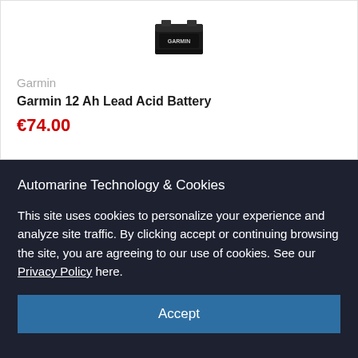[Figure (photo): Garmin 12 Ah Lead Acid Battery product image (black battery unit viewed from top/front angle)]
Garmin
Garmin 12 Ah Lead Acid Battery
€74.00
Automarine Technology & Cookies
This site uses cookies to personalize your experience and analyze site traffic. By clicking accept or continuing browsing the site, you are agreeing to our use of cookies. See our Privacy Policy here.
Accept